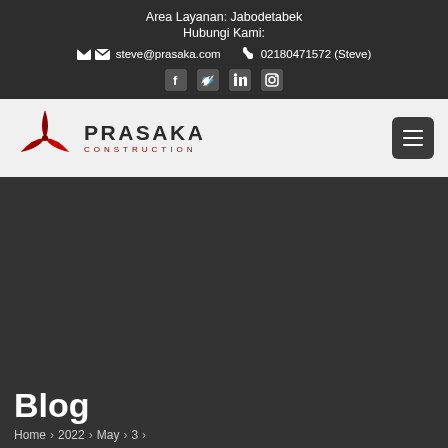Area Layanan: Jabodetabek
Hubungi Kami:
steve@prasaka.com  02180471572 (Steve)
[Figure (logo): Prasaka Construction logo with red 3-blade star icon and text PRASAKA CONSTRUCTION]
Blog
Home > 2022 > May > 3 >